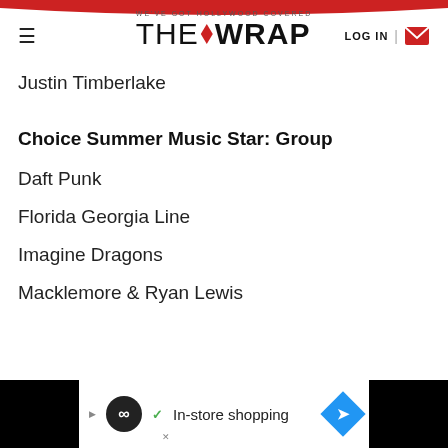WE'VE GOT HOLLYWOOD COVERED | THE WRAP | LOG IN
Justin Timberlake
Choice Summer Music Star: Group
Daft Punk
Florida Georgia Line
Imagine Dragons
Macklemore & Ryan Lewis